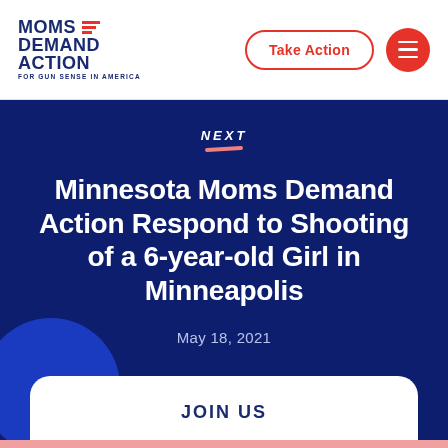Moms Demand Action for Gun Sense in America
Take Action
NEXT
Minnesota Moms Demand Action Respond to Shooting of a 6-year-old Girl in Minneapolis
May 18, 2021
NEW
JOIN US